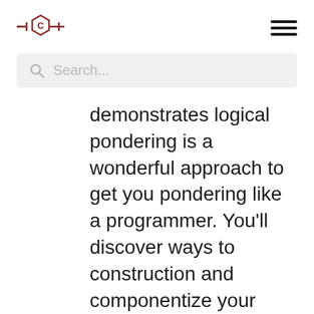[Figure (logo): Circular logo with letter C and horizontal lines through it, styled like a capacitor symbol]
[Figure (other): Hamburger menu icon with three horizontal bars]
[Figure (other): Search bar with magnifying glass icon and placeholder text 'Search...']
demonstrates logical pondering is a wonderful approach to get you pondering like a programmer. You’ll discover ways to construction and componentize your code, DOM manipulation, render completely different elements of your recreation and work with programming capabilities like loops, if-else statements and many others.